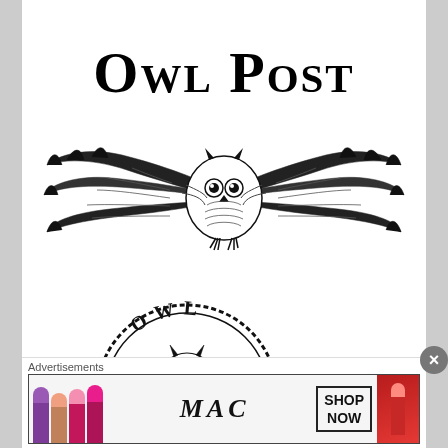Owl Post
[Figure (illustration): Black and white illustration of an owl with wings spread wide, in an engraving/woodcut style, centered below the Owl Post title text]
[Figure (logo): Circular stamp/seal logo with the word OWL at the top and an illustration of a white owl (like Hedwig) in the center, with a dashed circular border]
Advertisements
[Figure (photo): MAC cosmetics advertisement showing colorful lipsticks on the left, MAC logo in the center, SHOP NOW box, and a red lipstick on the right]